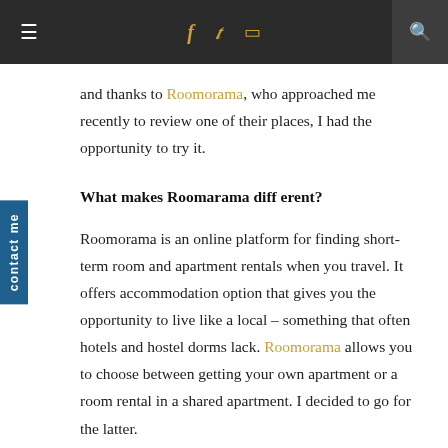≡  f  𝕥  ◻  🔍
and thanks to Roomorama, who approached me recently to review one of their places, I had the opportunity to try it.
What makes Roomarama different?
Roomorama is an online platform for finding short-term room and apartment rentals when you travel. It offers accommodation option that gives you the opportunity to live like a local – something that often hotels and hostel dorms lack. Roomorama allows you to choose between getting your own apartment or a room rental in a shared apartment. I decided to go for the latter.